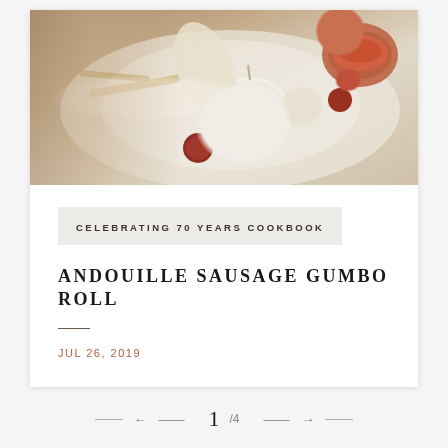[Figure (photo): Food photography showing garlic bulb, red onion, spices in a wooden bowl, and dried ingredients on a light fabric background]
CELEBRATING 70 YEARS COOKBOOK
ANDOUILLE SAUSAGE GUMBO ROLL
JUL 26, 2019
← 1 /4 →